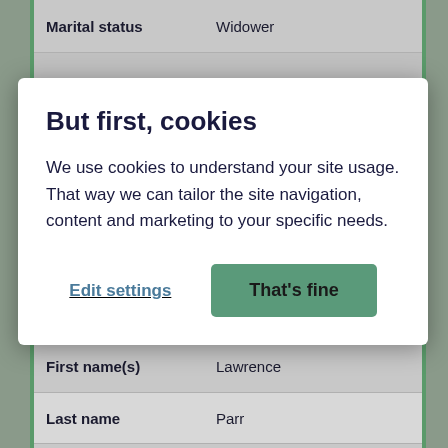| Field | Value |
| --- | --- |
| Marital status | Widower |
| First name(s) | Lawrence |
| Last name | Parr |
| Relationship | Son In Law |
| Marital status | Married |
| Gender | Male |
But first, cookies
We use cookies to understand your site usage. That way we can tailor the site navigation, content and marketing to your specific needs.
Edit settings
That's fine